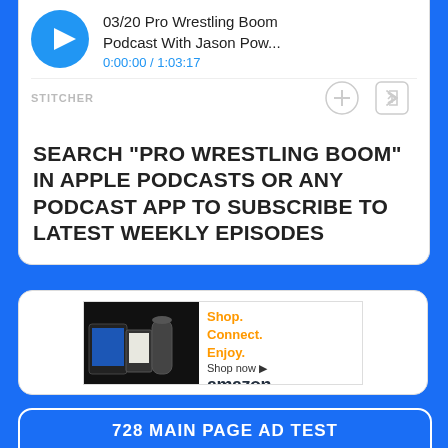[Figure (screenshot): Stitcher podcast player widget showing episode '03/20 Pro Wrestling Boom Podcast With Jason Pow...' with play button, time display 0:00:00 / 1:03:17, add and share icons, and STITCHER label]
SEARCH "PRO WRESTLING BOOM" IN APPLE PODCASTS OR ANY PODCAST APP TO SUBSCRIBE TO LATEST WEEKLY EPISODES
[Figure (screenshot): Amazon advertisement banner: Shop. Connect. Enjoy. Shop now, with Amazon logo and product images of Kindle and Echo devices]
728 MAIN PAGE AD TEST